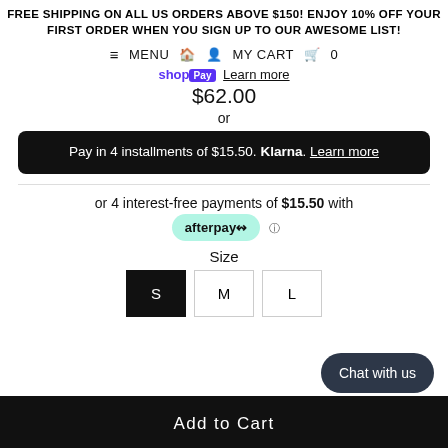FREE SHIPPING ON ALL US ORDERS ABOVE $150! ENJOY 10% OFF YOUR FIRST ORDER WHEN YOU SIGN UP TO OUR AWESOME LIST!
≡ MENU 🏠 👤 MY CART 🛍 0
shop Pay  Learn more
$62.00
or
Pay in 4 installments of $15.50. Klarna. Learn more
or 4 interest-free payments of $15.50 with afterpay ℹ
Size
S  M  L
Chat with us
Add to Cart